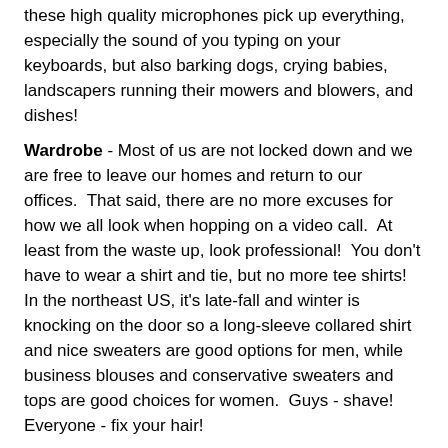these high quality microphones pick up everything, especially the sound of you typing on your keyboards, but also barking dogs, crying babies, landscapers running their mowers and blowers, and dishes!
Wardrobe - Most of us are not locked down and we are free to leave our homes and return to our offices.  That said, there are no more excuses for how we all look when hopping on a video call.  At least from the waste up, look professional!  You don't have to wear a shirt and tie, but no more tee shirts!  In the northeast US, it's late-fall and winter is knocking on the door so a long-sleeve collared shirt and nice sweaters are good options for men, while business blouses and conservative sweaters and tops are good choices for women.  Guys - shave!  Everyone - fix your hair!